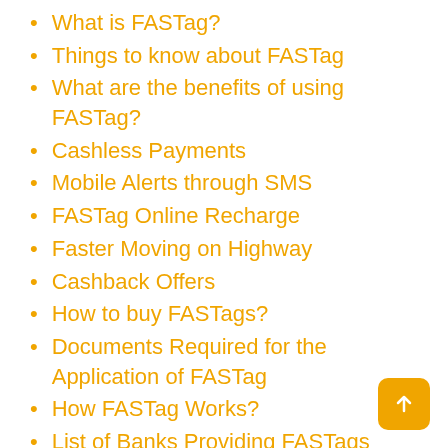What is FASTag?
Things to know about FASTag
What are the benefits of using FASTag?
Cashless Payments
Mobile Alerts through SMS
FASTag Online Recharge
Faster Moving on Highway
Cashback Offers
How to buy FASTags?
Documents Required for the Application of FASTag
How FASTag Works?
List of Banks Providing FASTags Account